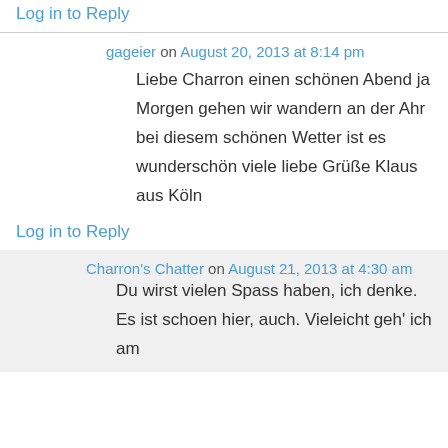Log in to Reply
gageier on August 20, 2013 at 8:14 pm
Liebe Charron einen schönen Abend ja Morgen gehen wir wandern an der Ahr bei diesem schönen Wetter ist es wunderschön viele liebe Grüße Klaus aus Köln
Log in to Reply
Charron's Chatter on August 21, 2013 at 4:30 am
Du wirst vielen Spass haben, ich denke. Es ist schoen hier, auch. Vieleicht geh' ich am